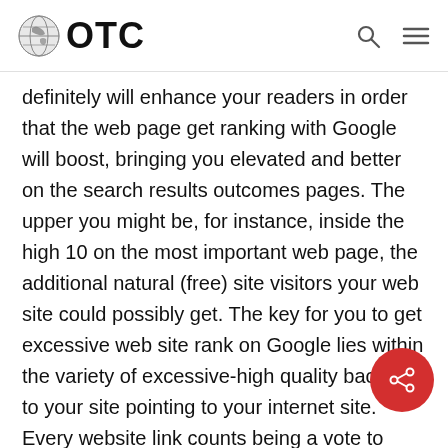OTC
definitely will enhance your readers in order that the web page get ranking with Google will boost, bringing you elevated and better on the search results outcomes pages. The upper you might be, for instance, inside the high 10 on the most important web page, the additional natural (free) site visitors your web site could possibly get. The key for you to get excessive web site rank on Google lies within the variety of excessive-high quality backlinks to your site pointing to your internet site. Every website link counts being a vote to your site. For superior rating Yahoo websites, a backlink from their store is much more worthwhile. So how can you get excessive quality gabrielamatos.com backlinks out of top websites?